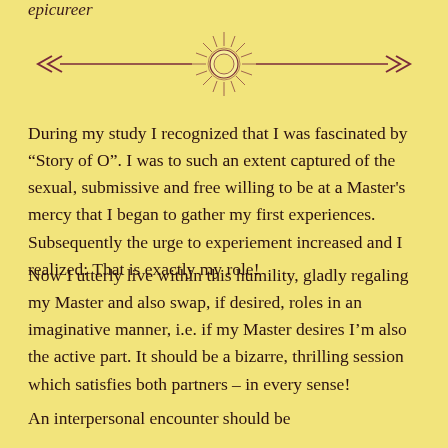epicureer
[Figure (illustration): Decorative horizontal divider with a sun/starburst motif in the center and chevron arrows on each side, rendered in dark rose/maroon color on yellow background]
During my study I recognized that I was fascinated by "Story of O". I was to such an extent captured of the sexual, submissive and free willing to be at a Master's mercy that I began to gather my first experiences. Subsequently the urge to experiement increased and I realized: That is exactly my role!
Now I utterly live within this humility, gladly regaling my Master and also swap, if desired, roles in an imaginative manner, i.e. if my Master desires I'm also the active part. It should be a bizarre, thrilling session which satisfies both partners – in every sense!
An interpersonal encounter should be